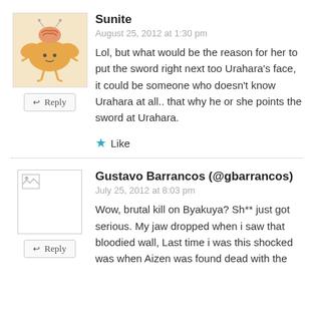[Figure (illustration): Avatar image of Sunite — cartoon illustration of a brain-like orange creature with legs]
Sunite
August 25, 2012 at 1:30 pm
Lol, but what would be the reason for her to put the sword right next too Urahara’s face, it could be someone who doesn’t know Urahara at all.. that why he or she points the sword at Urahara.
★ Like
[Figure (illustration): Broken/missing avatar image placeholder for Gustavo Barrancos]
Gustavo Barrancos (@gbarrancos)
July 25, 2012 at 8:03 pm
Wow, brutal kill on Byakuya? Sh** just got serious. My jaw dropped when i saw that bloodied wall, Last time i was this shocked was when Aizen was found dead with the